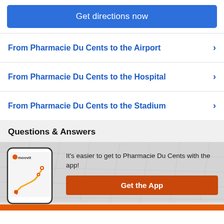Get directions now
From Pharmacie Du Cents to the Airport
From Pharmacie Du Cents to the Hospital
From Pharmacie Du Cents to the Stadium
Questions & Answers
[Figure (screenshot): Moovit app phone mockup showing a map with a route highlighted in orange/yellow, with pin markers and the Moovit logo]
It's easier to get to Pharmacie Du Cents with the app!
Get the App